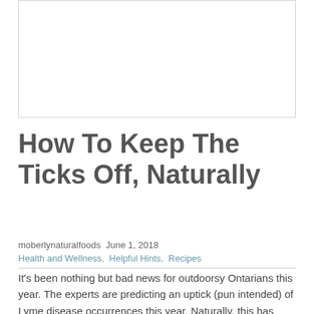[Figure (other): Placeholder image area at top of article, white background with light border]
How To Keep The Ticks Off, Naturally
moberlynaturalfoods June 1, 2018
Health and Wellness, Helpful Hints, Recipes
It's been nothing but bad news for outdoorsy Ontarians this year. The experts are predicting an uptick (pun intended) of Lyme disease occurrences this year. Naturally, this has